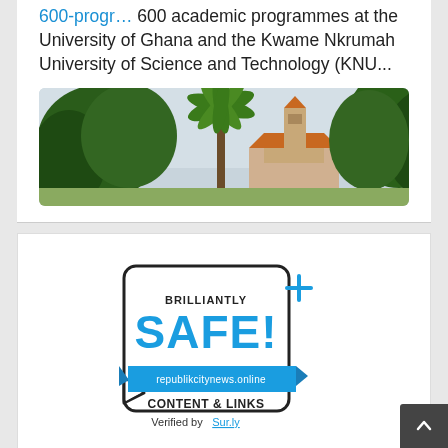600-progr... 600 academic programmes at the University of Ghana and the Kwame Nkrumah University of Science and Technology (KNU...
[Figure (photo): Photo of a university building with an orange/terracotta tiled roof and tower, surrounded by tropical trees including palm trees, under a light sky.]
[Figure (infographic): Safety badge reading: BRILLIANTLY SAFE! republikcitynews.online CONTENT & LINKS Verified by Sur.ly 2022]
2022